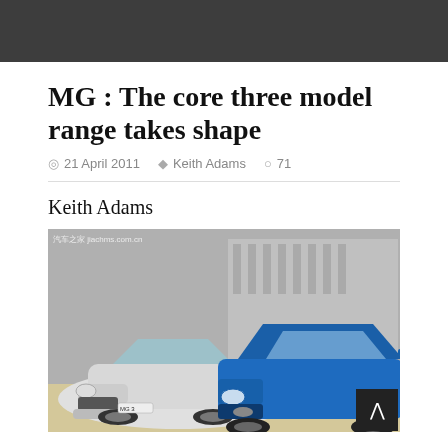MG : The core three model range takes shape
21 April 2011  Keith Adams  71
Keith Adams
[Figure (photo): Two MG cars photographed outdoors — a silver MG3 on the left and a blue MG on the right, with a building visible in the background. A watermark text is visible in the top-left corner of the image.]